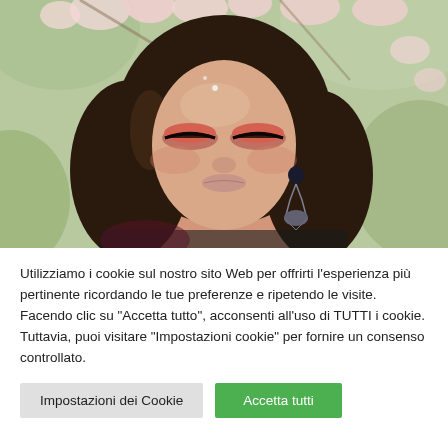[Figure (photo): Portrait photo of a young woman with dark hair and dramatic eye makeup (rose/coral eyeshadow), wearing ornate drop earrings, photographed against a blurred floral background (cherry blossoms). She is looking slightly downward.]
Utilizziamo i cookie sul nostro sito Web per offrirti l'esperienza più pertinente ricordando le tue preferenze e ripetendo le visite. Facendo clic su "Accetta tutto", acconsenti all'uso di TUTTI i cookie. Tuttavia, puoi visitare "Impostazioni cookie" per fornire un consenso controllato.
Impostazioni dei Cookie
Accetta tutti